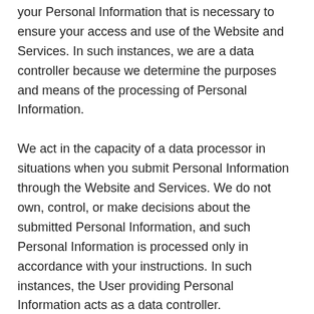your Personal Information that is necessary to ensure your access and use of the Website and Services. In such instances, we are a data controller because we determine the purposes and means of the processing of Personal Information.
We act in the capacity of a data processor in situations when you submit Personal Information through the Website and Services. We do not own, control, or make decisions about the submitted Personal Information, and such Personal Information is processed only in accordance with your instructions. In such instances, the User providing Personal Information acts as a data controller.